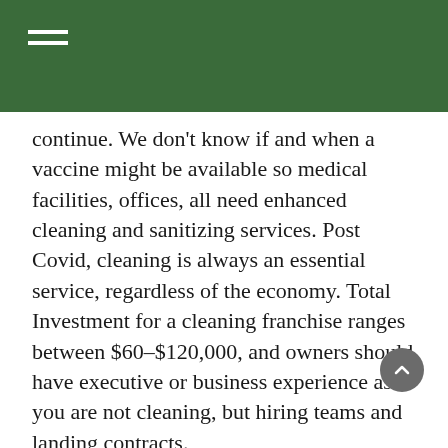continue. We don't know if and when a vaccine might be available so medical facilities, offices, all need enhanced cleaning and sanitizing services. Post Covid, cleaning is always an essential service, regardless of the economy. Total Investment for a cleaning franchise ranges between $60–$120,000, and owners should have executive or business experience as you are not cleaning, but hiring teams and landing contracts.
Automotive repair. It is no secret that in recessions or depressions, people don't buy new cars. They fix their old cars. Any type of franchise that